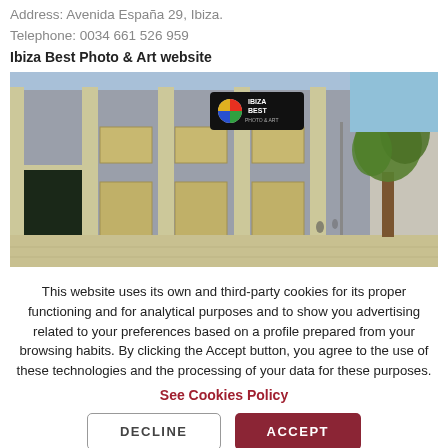Address: Avenida España 29, Ibiza.
Telephone: 0034 661 526 959
Ibiza Best Photo & Art website
[Figure (photo): Exterior street view of Ibiza Best Photo & Art shop at Avenida España 29, Ibiza. A grey building with cream-colored pilasters, a dark doorway, and a black sign with the Ibiza Best Photo & Art logo (colorful circle). A tree is visible on the right side of the image with blue sky in the background.]
This website uses its own and third-party cookies for its proper functioning and for analytical purposes and to show you advertising related to your preferences based on a profile prepared from your browsing habits. By clicking the Accept button, you agree to the use of these technologies and the processing of your data for these purposes.
See Cookies Policy
DECLINE
ACCEPT